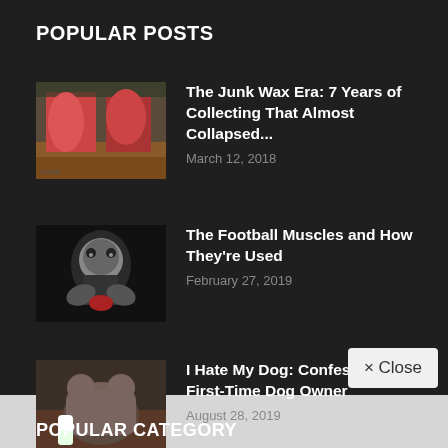POPULAR POSTS
The Junk Wax Era: 7 Years of Collecting That Almost Collapsed... — March 12, 2018
The Football Muscles and How They're Used — February 27, 2019
I Hate My Dog: Confessions of a First-Time Dog Owner — August 28, 2019
× Close
POPULAR CATEGORY